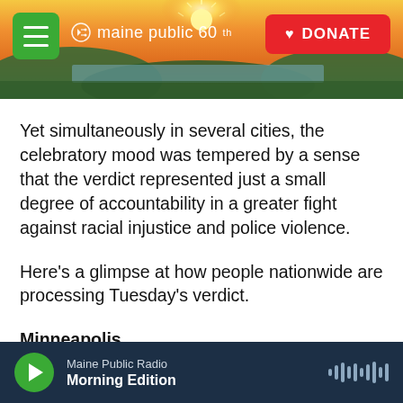[Figure (screenshot): Maine Public 60th anniversary logo banner with sunset landscape background, hamburger menu button, and red DONATE button]
Yet simultaneously in several cities, the celebratory mood was tempered by a sense that the verdict represented just a small degree of accountability in a greater fight against racial injustice and police violence.
Here's a glimpse at how people nationwide are processing Tuesday's verdict.
Minneapolis
In George Floyd Square — a memorial site dedicated to Floyd and the intersection where
Maine Public Radio | Morning Edition